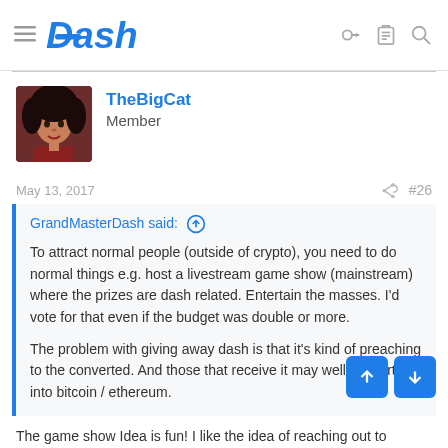Dash — TheBigCat — Member
[Figure (logo): Dash cryptocurrency logo with hamburger menu icon on the left and navigation icons (key, clipboard, search) on the right]
TheBigCat
Member
May 13, 2017  #26
GrandMasterDash said: ↑

To attract normal people (outside of crypto), you need to do normal things e.g. host a livestream game show (mainstream) where the prizes are dash related. Entertain the masses. I'd vote for that even if the budget was double or more.

The problem with giving away dash is that it's kind of preaching to the converted. And those that receive it may well convert it into bitcoin / ethereum.
The game show Idea is fun! I like the idea of reaching out to 'normal